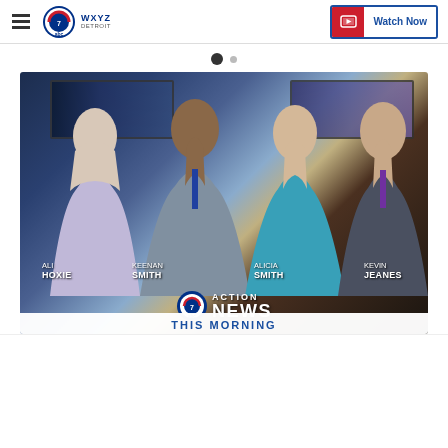WXYZ Detroit — Watch Now
[Figure (photo): WXYZ Detroit Action News This Morning team photo with four anchors: Ali Hoxie, Keenan Smith, Alicia Smith, Kevin Jeanes, in front of a news studio backdrop. Action News ABC logo and 'THIS MORNING' text visible at bottom.]
ALI HOXIE · KEENAN SMITH · ALICIA SMITH · KEVIN JEANES — ACTION NEWS THIS MORNING